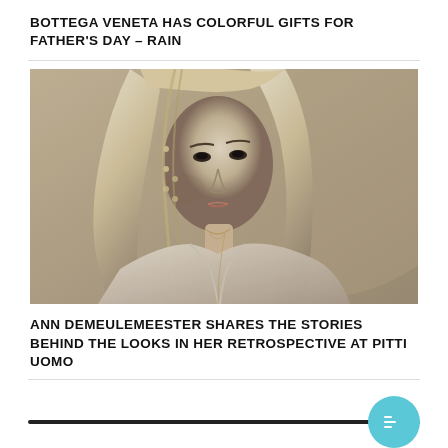BOTTEGA VENETA HAS COLORFUL GIFTS FOR FATHER'S DAY – RAIN
[Figure (photo): Black and white fashion photograph of a blonde woman with long braided hair, wearing a white off-shoulder top/jacket, looking directly at the camera. Background is a plain light wall.]
ANN DEMEULEMEESTER SHARES THE STORIES BEHIND THE LOOKS IN HER RETROSPECTIVE AT PITTI UOMO